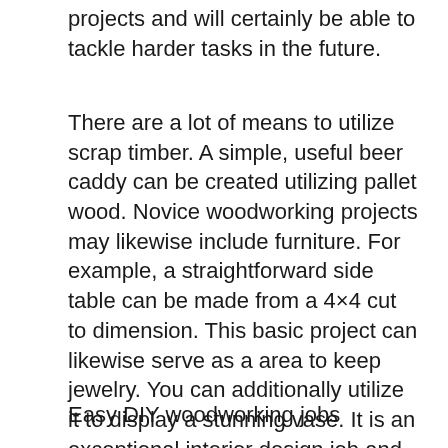projects and will certainly be able to tackle harder tasks in the future.
There are a lot of means to utilize scrap timber. A simple, useful beer caddy can be created utilizing pallet wood. Novice woodworking projects may likewise include furniture. For example, a straightforward side table can be made from a 4×4 cut to dimension. This basic project can likewise serve as a area to keep jewelry. You can additionally utilize it to display a stunning vase. It is an exceptional interior design job and doesn't call for a great deal of timber glue or devices.
Easy DIY woodworking jobs